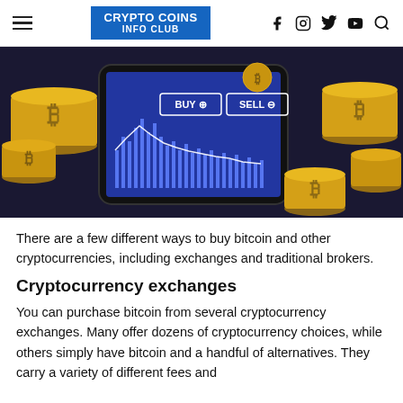CRYPTO COINS INFO CLUB
[Figure (photo): A smartphone displaying a cryptocurrency trading chart with BUY and SELL buttons, surrounded by stacks of gold Bitcoin coins on a dark background.]
There are a few different ways to buy bitcoin and other cryptocurrencies, including exchanges and traditional brokers.
Cryptocurrency exchanges
You can purchase bitcoin from several cryptocurrency exchanges. Many offer dozens of cryptocurrency choices, while others simply have bitcoin and a handful of alternatives. They carry a variety of different fees and